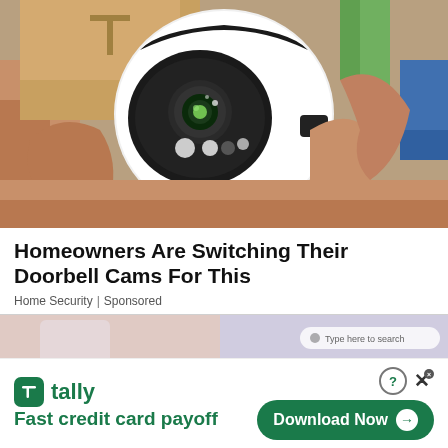[Figure (photo): A hand holding a white egg-shaped security camera with a round lens, green LED, and motion sensor dots visible. Background shows cardboard boxes and a blue object.]
Homeowners Are Switching Their Doorbell Cams For This
Home Security | Sponsored
[Figure (screenshot): Partial view of a second article preview showing a pink/mauve background with a phone and a search bar reading 'Type here to search'.]
[Figure (infographic): Tally advertisement banner. Shows Tally logo (green square with T icon) and text 'tally' and 'Fast credit card payoff' in dark green. Right side has a 'Download Now' button with arrow in green rounded pill shape, plus help (?) and close (X) icons.]